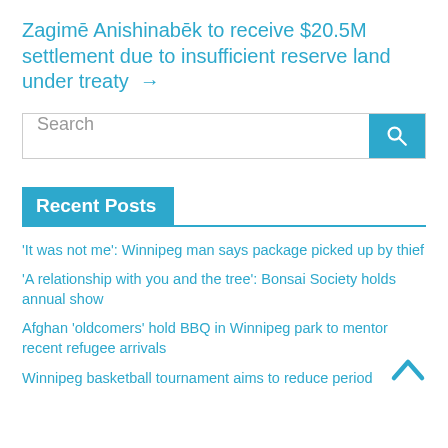Zagimē Anishinabēk to receive $20.5M settlement due to insufficient reserve land under treaty →
[Figure (other): Search bar with text input and blue search button with magnifying glass icon]
Recent Posts
'It was not me': Winnipeg man says package picked up by thief
'A relationship with you and the tree': Bonsai Society holds annual show
Afghan 'oldcomers' hold BBQ in Winnipeg park to mentor recent refugee arrivals
Winnipeg basketball tournament aims to reduce period